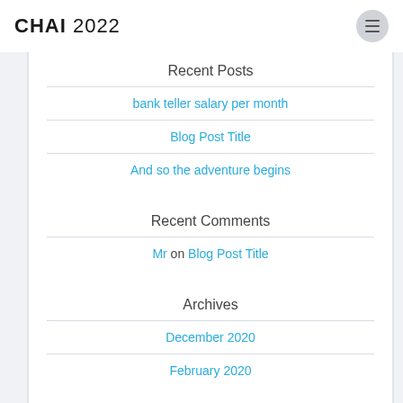CHAI 2022
Recent Posts
bank teller salary per month
Blog Post Title
And so the adventure begins
Recent Comments
Mr on Blog Post Title
Archives
December 2020
February 2020